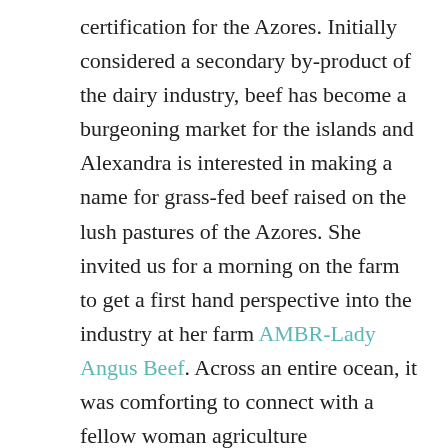certification for the Azores. Initially considered a secondary by-product of the dairy industry, beef has become a burgeoning market for the islands and Alexandra is interested in making a name for grass-fed beef raised on the lush pastures of the Azores. She invited us for a morning on the farm to get a first hand perspective into the industry at her farm AMBR-Lady Angus Beef. Across an entire ocean, it was comforting to connect with a fellow woman agriculture shamelessly kicking ass (while driving a pink tractor AND truck, no less).